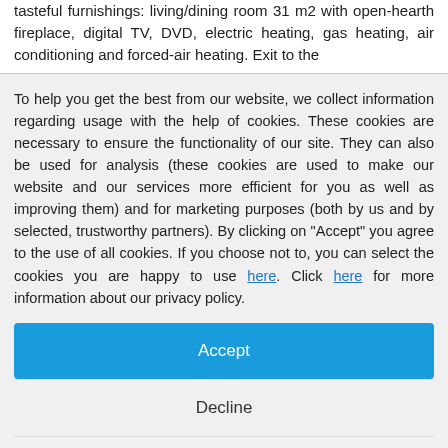tasteful furnishings: living/dining room 31 m2 with open-hearth fireplace, digital TV, DVD, electric heating, gas heating, air conditioning and forced-air heating. Exit to the
To help you get the best from our website, we collect information regarding usage with the help of cookies. These cookies are necessary to ensure the functionality of our site. They can also be used for analysis (these cookies are used to make our website and our services more efficient for you as well as improving them) and for marketing purposes (both by us and by selected, trustworthy partners). By clicking on "Accept" you agree to the use of all cookies. If you choose not to, you can select the cookies you are happy to use here. Click here for more information about our privacy policy.
Accept
Decline
Configure